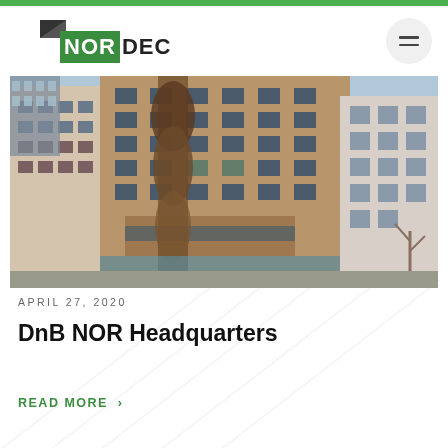[Figure (logo): NORDEC company logo with green background for NOR and black DEC text, with a geometric dark shape above]
[Figure (photo): Photograph of DnB NOR Headquarters building - a multi-story brick building with a climbing plant/tree in front, other office buildings visible on either side, taken from street level looking up]
APRIL 27, 2020
DnB NOR Headquarters
READ MORE >